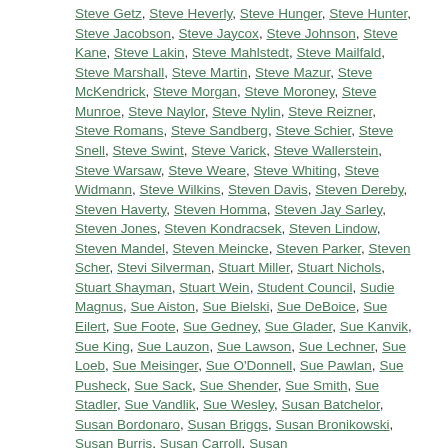Steve Getz, Steve Heverly, Steve Hunger, Steve Hunter, Steve Jacobson, Steve Jaycox, Steve Johnson, Steve Kane, Steve Lakin, Steve Mahlstedt, Steve Mailfald, Steve Marshall, Steve Martin, Steve Mazur, Steve McKendrick, Steve Morgan, Steve Moroney, Steve Munroe, Steve Naylor, Steve Nylin, Steve Reizner, Steve Romans, Steve Sandberg, Steve Schier, Steve Snell, Steve Swint, Steve Varick, Steve Wallerstein, Steve Warsaw, Steve Weare, Steve Whiting, Steve Widmann, Steve Wilkins, Steven Davis, Steven Dereby, Steven Haverty, Steven Homma, Steven Jay Sarley, Steven Jones, Steven Kondracsek, Steven Lindow, Steven Mandel, Steven Meincke, Steven Parker, Steven Scher, Stevi Silverman, Stuart Miller, Stuart Nichols, Stuart Shayman, Stuart Wein, Student Council, Sudie Magnus, Sue Aiston, Sue Bielski, Sue DeBoice, Sue Eilert, Sue Foote, Sue Gedney, Sue Glader, Sue Kanvik, Sue King, Sue Lauzon, Sue Lawson, Sue Lechner, Sue Loeb, Sue Meisinger, Sue O'Donnell, Sue Pawlan, Sue Pusheck, Sue Sack, Sue Shender, Sue Smith, Sue Stadler, Sue Vandlik, Sue Wesley, Susan Batchelor, Susan Bordonaro, Susan Briggs, Susan Bronikowski, Susan Burris, Susan Carroll, Susan